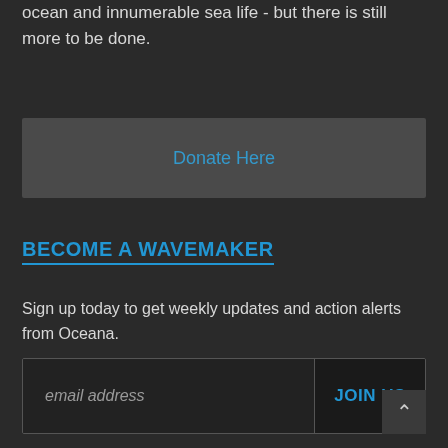ocean and innumerable sea life - but there is still more to be done.
Donate Here
BECOME A WAVEMAKER
Sign up today to get weekly updates and action alerts from Oceana.
email address
JOIN US